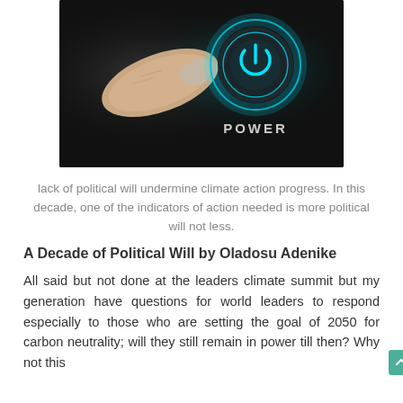[Figure (photo): A finger pressing a glowing blue/teal circular power button on a dark surface, with the word POWER written below the button.]
lack of political will undermine climate action progress. In this decade, one of the indicators of action needed is more political will not less.
A Decade of Political Will by Oladosu Adenike
All said but not done at the leaders climate summit but my generation have questions for world leaders to respond especially to those who are setting the goal of 2050 for carbon neutrality; will they still remain in power till then? Why not this